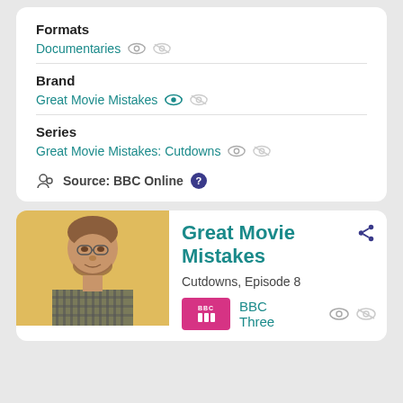Formats
Documentaries
Brand
Great Movie Mistakes
Series
Great Movie Mistakes: Cutdowns
Source: BBC Online
Great Movie Mistakes
Cutdowns, Episode 8
BBC Three